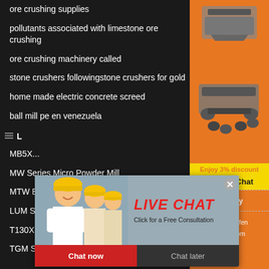ore crushing supplies
pollutants associated with limestone ore crushing
ore crushing machinery called
stone crushers followingstone crushers for gold
home made electric concrete screed
ball mill pe en venezuela
L...
MB5X...
MW Series Micro Powder Mill
MTW European Trapezium Mill
LUM Series Superfine Vertical R
T130X Superfine Grinding Mill
TGM Super Pressure Trapezium Mi
[Figure (screenshot): Live chat popup overlay with a woman in hard hat, Live Chat title, Click for a Free Consultation text, Chat now and Chat later buttons]
[Figure (photo): Sidebar with orange background showing mining/crushing machinery images, Enjoy 3% discount, Click to Chat, Enquiry, and email limingjlmofen@sina.com]